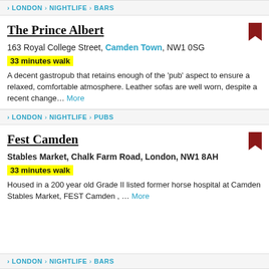LONDON > NIGHTLIFE > BARS
The Prince Albert
163 Royal College Street, Camden Town, NW1 0SG
33 minutes walk
A decent gastropub that retains enough of the 'pub' aspect to ensure a relaxed, comfortable atmosphere. Leather sofas are well worn, despite a recent change... More
LONDON > NIGHTLIFE > PUBS
Fest Camden
Stables Market, Chalk Farm Road, London, NW1 8AH
33 minutes walk
Housed in a 200 year old Grade II listed former horse hospital at Camden Stables Market, FEST Camden , ... More
LONDON > NIGHTLIFE > BARS